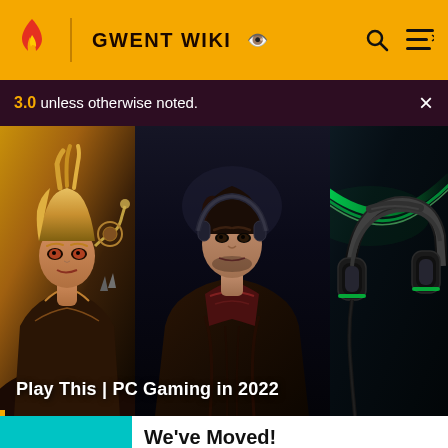GWENT WIKI
3.0 unless otherwise noted.
[Figure (photo): Three-panel gaming banner showing: left panel - animated female character with blonde hair and fantasy armor; center panel - person in Hogwarts-style robes wearing a headset; right panel - gaming headset with green lighting against dark background. Caption reads: Play This | PC Gaming in 2022]
Play This | PC Gaming in 2022
We've Moved!
Just as Gamepedia has joined forces with Fandom, this wiki has joined forces with our Fandom equivalent. The wiki has been archived and we ask that readers and editors move to the now combined wiki on Fandom.
GO TO NEW WIKI →